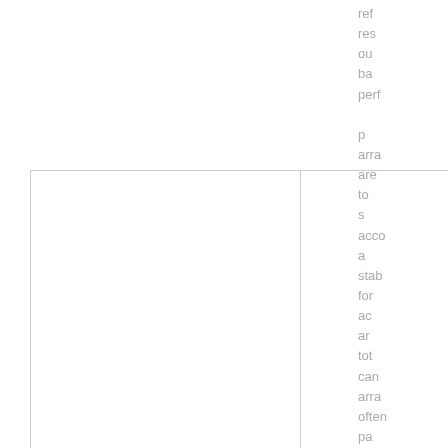ref... res... ou... ba... perf... p... arra... are to s... acco... a... stab... for ac... ar... tot... can... arra... often pa... mod...